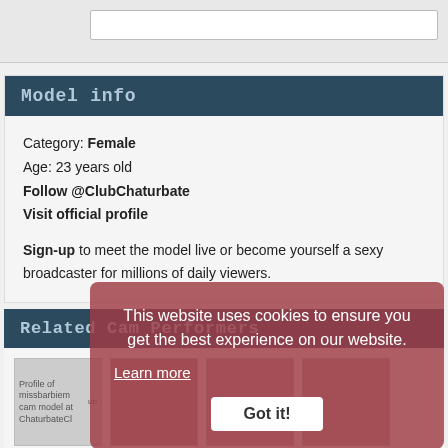Model info
Category: Female
Age: 23 years old
Follow @ClubChaturbate
Visit official profile
Sign-up to meet the model live or become yourself a sexy broadcaster for millions of daily viewers.
Related Cam Performers
[Figure (screenshot): Profile thumbnails of cam models: missbarbiem, bipolarmilf420, lilangel66]
This website uses cookies to ensure you get the best experience on our website.
Learn more
Got it!